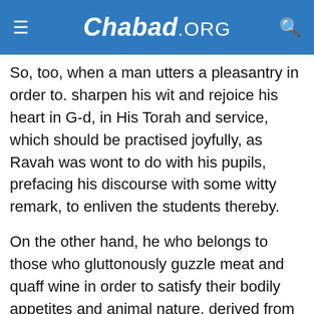Chabad.ORG
So, too, when a man utters a pleasantry in order to. sharpen his wit and rejoice his heart in G-d, in His Torah and service, which should be practised joyfully, as Ravah was wont to do with his pupils, prefacing his discourse with some witty remark, to enliven the students thereby.
On the other hand, he who belongs to those who gluttonously guzzle meat and quaff wine in order to satisfy their bodily appetites and animal nature, derived from the so-called element of water of the four evil elements contained therein, from which comes the vice of lust— in such case the energy of the meat and wine consumed by him is degraded and absorbed